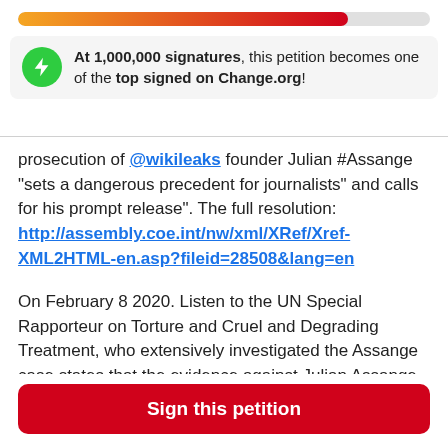[Figure (infographic): Progress bar showing signatures filled about 80% from orange to red]
At 1,000,000 signatures, this petition becomes one of the top signed on Change.org!
prosecution of @wikileaks founder Julian #Assange "sets a dangerous precedent for journalists" and calls for his prompt release". The full resolution: http://assembly.coe.int/nw/xml/XRef/Xref-XML2HTML-en.asp?fileid=28508&lang=en
On February 8 2020. Listen to the UN Special Rapporteur on Torture and Cruel and Degrading Treatment, who extensively investigated the Assange case states that the evidence against Julian Assange has been "Fabricated" https://youtu.be/f9KRxF9oVxQ
Sign this petition